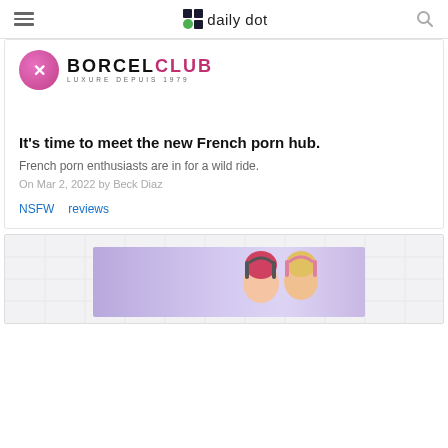daily dot
[Figure (logo): Borcel Club - Luxure Depuis 1979 logo with pink circular emblem]
It's time to meet the new French porn hub.
French porn enthusiasts are in for a wild ride.
On Mar 2, 2022 by Beck Diaz
NSFW   reviews
[Figure (photo): Advertisement banner with two women wearing headphones on a purple/lavender background]